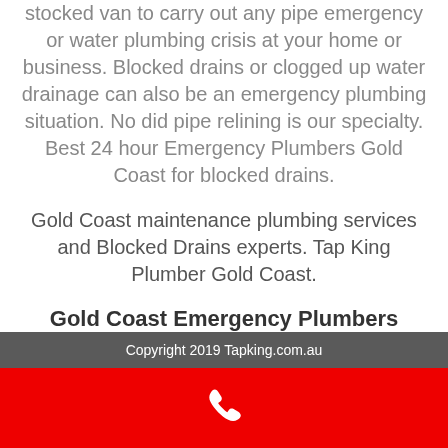stocked van to carry out any pipe emergency or water plumbing crisis at your home or business. Blocked drains or clogged up water drainage can also be an emergency plumbing situation. No did pipe relining is our specialty. Best 24 hour Emergency Plumbers Gold Coast for blocked drains.
Gold Coast maintenance plumbing services and Blocked Drains experts. Tap King Plumber Gold Coast.
Gold Coast Emergency Plumbers
Copyright 2019 Tapking.com.au